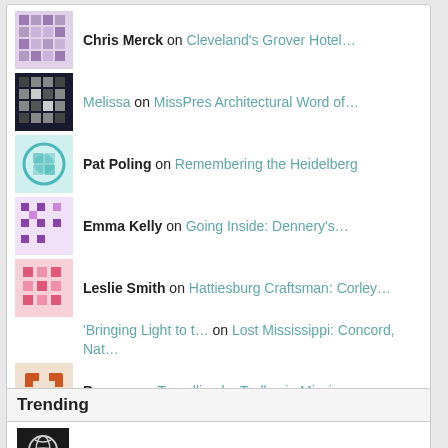Chris Merck on Cleveland's Grover Hotel…
Melissa on MissPres Architectural Word of…
Pat Poling on Remembering the Heidelberg
Emma Kelly on Going Inside: Dennery's…
Leslie Smith on Hattiesburg Craftsman: Corley…
'Bringing Light to t… on Lost Mississippi: Concord, Nat…
Busguy on Travelling by Trolley in Missi…
Leah Harris on Abandoned Mississippi: Mt. Hol…
Alice L Lambert on Before and After: Meridian…
Celia Rayburn on Keesler Field Barracks
Trending
Help build a list of required Mississippi places